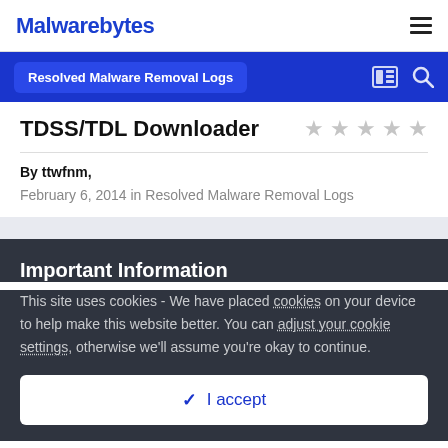Malwarebytes
Resolved Malware Removal Logs
TDSS/TDL Downloader
By ttwfnm,
February 6, 2014 in Resolved Malware Removal Logs
Important Information
This site uses cookies - We have placed cookies on your device to help make this website better. You can adjust your cookie settings, otherwise we'll assume you're okay to continue.
I accept